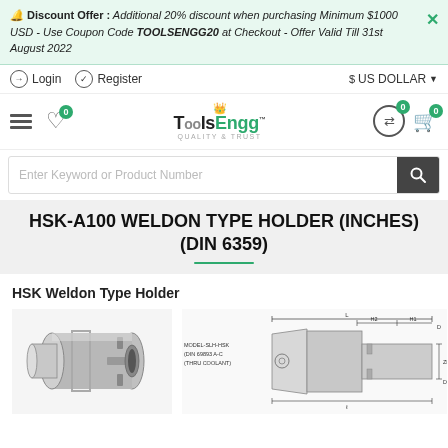🔔 Discount Offer : Additional 20% discount when purchasing Minimum $1000 USD - Use Coupon Code TOOLSENGG20 at Checkout - Offer Valid Till 31st August 2022
Login  Register    $ US DOLLAR
[Figure (logo): ToolsEngg logo with crown icon and tagline QUALITY & TRUST]
Enter Keyword or Product Number
HSK-A100 WELDON TYPE HOLDER (INCHES) (DIN 6359)
HSK Weldon Type Holder
[Figure (photo): Photo of HSK-A100 Weldon Type Holder - metallic cylindrical tool holder with weldon flat]
[Figure (engineering-diagram): Technical engineering drawing of HSK Weldon Type Holder showing MODEL-SLH-HSK, DIN 69893 A-C, THRU COOLANT with dimension lines for L, H2, H1, D, d, ZD, DC]